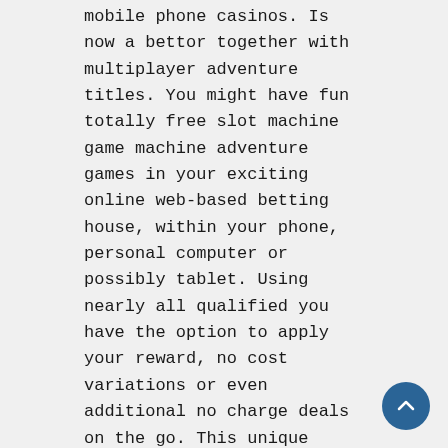mobile phone casinos. Is now a bettor together with multiplayer adventure titles. You might have fun totally free slot machine game machine adventure games in your exciting online web-based betting house, within your phone, personal computer or possibly tablet. Using nearly all qualified you have the option to apply your reward, no cost variations or even additional no charge deals on the go. This unique